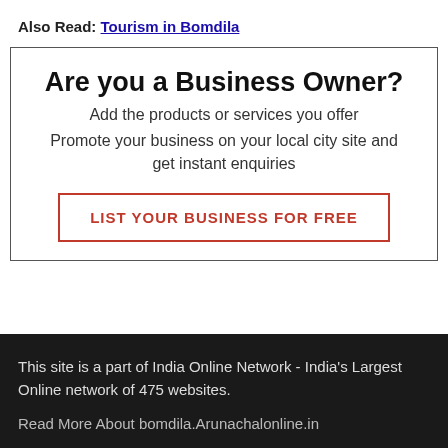Also Read: Tourism in Bomdila
Are you a Business Owner?
Add the products or services you offer
Promote your business on your local city site and get instant enquiries
LIST YOUR BUSINESS FOR FREE
This site is a part of India Online Network - India's Largest Online network of 475 websites.
Read More About bomdila.Arunachalonline.in